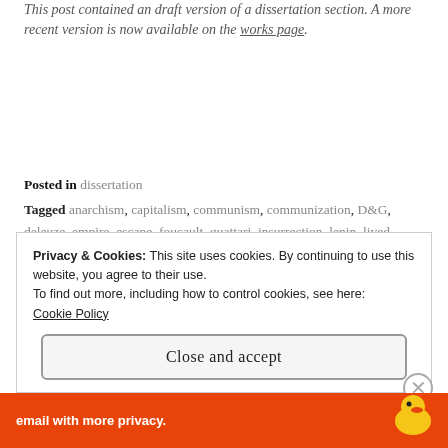This post contained an draft version of a dissertation section. A more recent version is now available on the works page.
Posted in dissertation
Tagged anarchism, capitalism, communism, communization, D&G, deleuze, empire, escape, foucault, guattari, insurrection, lenin, lived communism, marx, marxism, materialism, micro-politics, militancy, politics, power, singularity, sovereignty, state, subjectivity, the social, the state, Tiqqun, war machine
Privacy & Cookies: This site uses cookies. By continuing to use this website, you agree to their use.
To find out more, including how to control cookies, see here: Cookie Policy
Close and accept